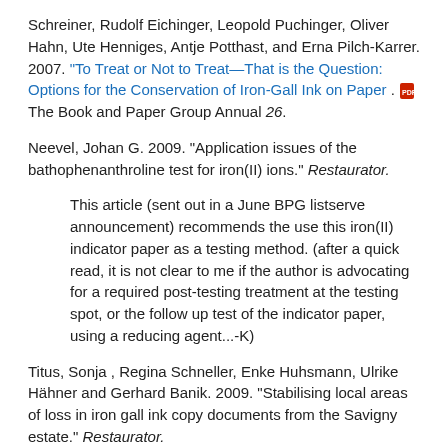Schreiner, Rudolf Eichinger, Leopold Puchinger, Oliver Hahn, Ute Henniges, Antje Potthast, and Erna Pilch-Karrer. 2007. "To Treat or Not to Treat—That is the Question: Options for the Conservation of Iron-Gall Ink on Paper . The Book and Paper Group Annual 26.
Neevel, Johan G. 2009. "Application issues of the bathophenanthroline test for iron(II) ions." Restaurator.
This article (sent out in a June BPG listserve announcement) recommends the use this iron(II) indicator paper as a testing method. (after a quick read, it is not clear to me if the author is advocating for a required post-testing treatment at the testing spot, or the follow up test of the indicator paper, using a reducing agent...-K)
Titus, Sonja , Regina Schneller, Enke Huhsmann, Ulrike Hähner and Gerhard Banik. 2009. "Stabilising local areas of loss in iron gall ink copy documents from the Savigny estate." Restaurator.
This article (sent out in a June BPG listserve announcement) discusses the treatment of letterpress